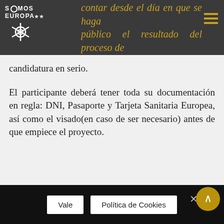Somos Europa (logo with star)
contar desde el día en que se haga público el resultado del proceso de selección. Debes tomar tu candidatura en serio.
El participante deberá tener toda su documentación en regla: DNI, Pasaporte y Tarjeta Sanitaria Europea, así como el visado(en caso de ser necesario) antes de que empiece el proyecto.
Vale | Política de Cookies